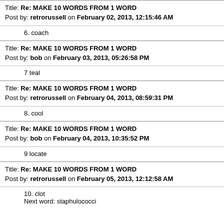Title: Re: MAKE 10 WORDS FROM 1 WORD
Post by: retrorussell on February 02, 2013, 12:15:46 AM
6. coach
Title: Re: MAKE 10 WORDS FROM 1 WORD
Post by: bob on February 03, 2013, 05:26:58 PM
7 teal
Title: Re: MAKE 10 WORDS FROM 1 WORD
Post by: retrorussell on February 04, 2013, 08:59:31 PM
8. cool
Title: Re: MAKE 10 WORDS FROM 1 WORD
Post by: bob on February 04, 2013, 10:35:52 PM
9 locate
Title: Re: MAKE 10 WORDS FROM 1 WORD
Post by: retrorussell on February 05, 2013, 12:12:58 AM
10. clot
Next word: staphulococci